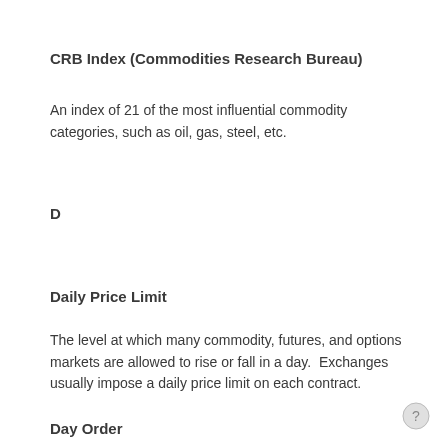CRB Index (Commodities Research Bureau)
An index of 21 of the most influential commodity categories, such as oil, gas, steel, etc.
D
Daily Price Limit
The level at which many commodity, futures, and options markets are allowed to rise or fall in a day.  Exchanges usually impose a daily price limit on each contract.
Day Order